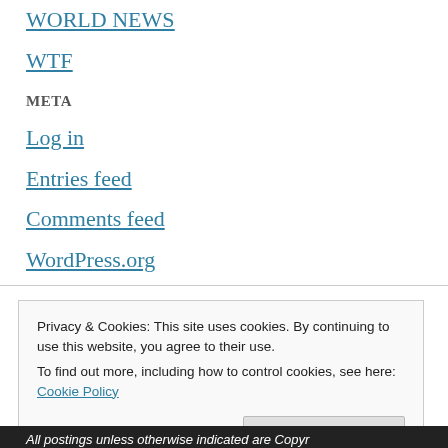WORLD NEWS
WTF
META
Log in
Entries feed
Comments feed
WordPress.org
Privacy & Cookies: This site uses cookies. By continuing to use this website, you agree to their use.
To find out more, including how to control cookies, see here: Cookie Policy
All postings unless otherwise indicated are Copyr...